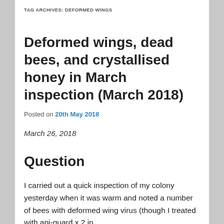TAG ARCHIVES: DEFORMED WINGS
Deformed wings, dead bees, and crystallised honey in March inspection (March 2018)
Posted on 20th May 2018
March 26, 2018
Question
I carried out a quick inspection of my colony yesterday when it was warm and noted a number of bees with deformed wing virus (though I treated with api-guard x 2 in